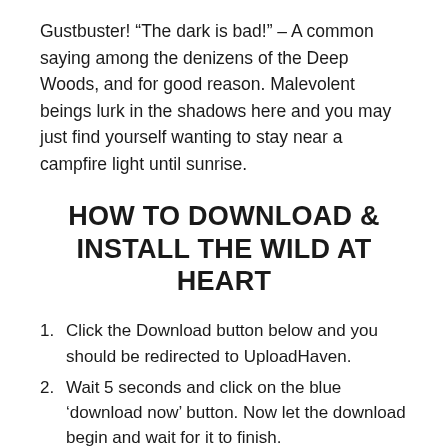Gustbuster! “The dark is bad!” – A common saying among the denizens of the Deep Woods, and for good reason. Malevolent beings lurk in the shadows here and you may just find yourself wanting to stay near a campfire light until sunrise.
HOW TO DOWNLOAD & INSTALL THE WILD AT HEART
Click the Download button below and you should be redirected to UploadHaven.
Wait 5 seconds and click on the blue ‘download now’ button. Now let the download begin and wait for it to finish.
Once The Wild At Heart is done downloading, right click the .zip file and click on “Extract to